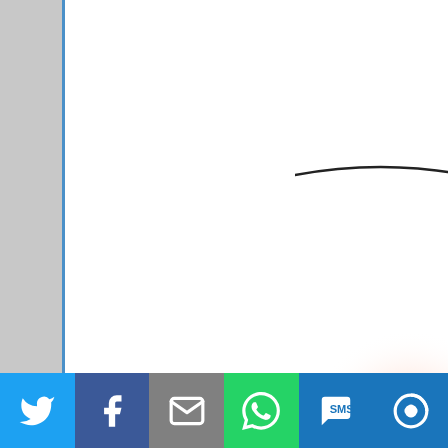[Figure (illustration): Decorative script letter 'Te' (partial, calligraphic style) with pink/salmon glow on white background, upper right area of page]
Chapter On
[Figure (illustration): Social sharing bar at bottom with Twitter, Facebook, Email, WhatsApp, SMS, and More icons]